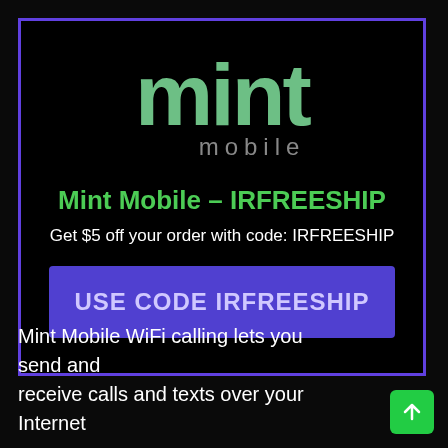[Figure (logo): Mint Mobile logo with stylized 'mint' text in green and 'mobile' in gray below]
Mint Mobile – IRFREESHIP
Get $5 off your order with code: IRFREESHIP
USE CODE IRFREESHIP
Mint Mobile WiFi calling lets you send and receive calls and texts over your Internet